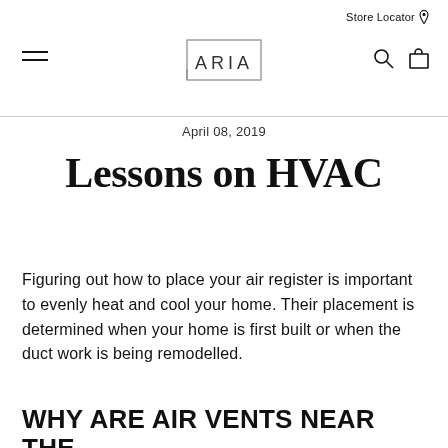Store Locator  [hamburger menu] ARIA [search icon] [cart icon]
April 08, 2019
Lessons on HVAC
Figuring out how to place your air register is important to evenly heat and cool your home. Their placement is determined when your home is first built or when the duct work is being remodelled.
WHY ARE AIR VENTS NEAR THE